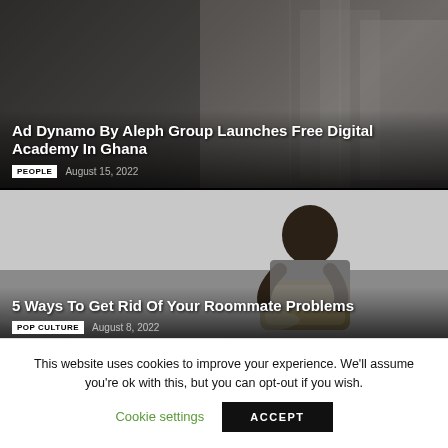[Figure (photo): Article card with background photo of urban/architectural scene. Title overlay: 'Ad Dynamo By Aleph Group Launches Free Digital Academy In Ghana'. Tag: PEOPLE. Date: August 15, 2022.]
Ad Dynamo By Aleph Group Launches Free Digital Academy In Ghana
PEOPLE   August 15, 2022
[Figure (photo): Article card with photo of a man hugging/carrying a large duffel bag outdoors. Title overlay: '5 Ways To Get Rid Of Your Roommate Problems'. Tag: POP CULTURE. Date: August 8, 2022.]
5 Ways To Get Rid Of Your Roommate Problems
POP CULTURE   August 8, 2022
This website uses cookies to improve your experience. We'll assume you're ok with this, but you can opt-out if you wish.
Cookie settings   ACCEPT